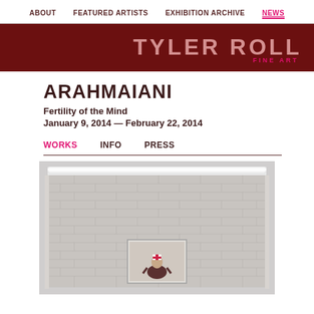ABOUT  FEATURED ARTISTS  EXHIBITION ARCHIVE  NEWS
[Figure (logo): Tyler Rollins Fine Art logo on dark red banner background]
ARAHMAIANI
Fertility of the Mind
January 9, 2014 — February 22, 2014
WORKS  INFO  PRESS
[Figure (photo): Gallery installation photo showing a large illuminated brick wall with a framed portrait of a person wearing a red cross nurse hat displayed in the center]